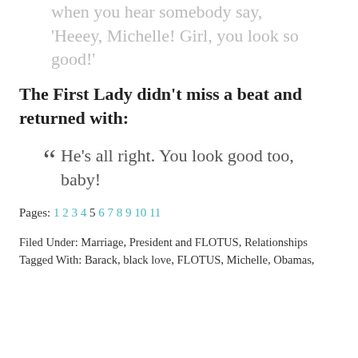When you hear somebody say, 'Heeey, Michelle! Girl, you look so good!'
The First Lady didn't miss a beat and returned with:
“ He's all right. You look good too, baby!
Pages: 1 2 3 4 5 6 7 8 9 10 11
Filed Under: Marriage, President and FLOTUS, Relationships Tagged With: Barack, black love, FLOTUS, Michelle, Obamas,